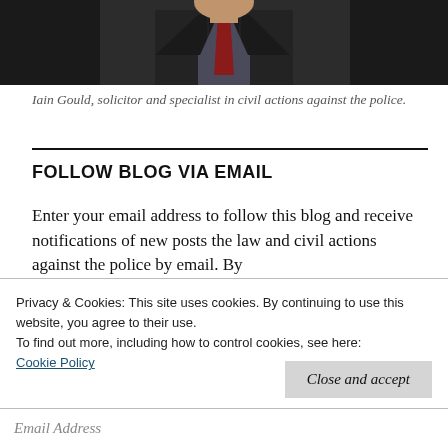[Figure (photo): Partial photo of a man in a dark suit with a red tie, cropped at the shoulders/chest level, shown against a dark background.]
Iain Gould, solicitor and specialist in civil actions against the police.
FOLLOW BLOG VIA EMAIL
Enter your email address to follow this blog and receive notifications of new posts the law and civil actions against the police by email. By
Privacy & Cookies: This site uses cookies. By continuing to use this website, you agree to their use.
To find out more, including how to control cookies, see here:
Cookie Policy
Close and accept
Email Address